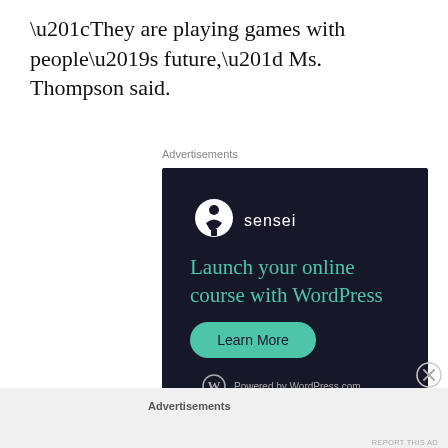“They are playing games with people’s future,” Ms. Thompson said.
Advertisements
[Figure (other): Sensei advertisement: Launch your online course with WordPress. Learn More button. Powered by WordPress.com logo.]
REPORT THIS AD
Advertisements
REPORT THIS AD